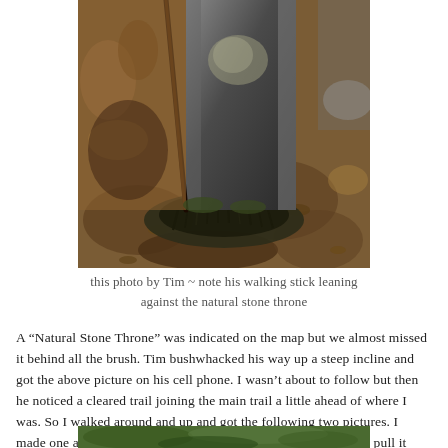[Figure (photo): Outdoor photo showing a large natural stone/rock formation with moss and grass at its base, dappled sunlight and shadows on forest floor with dead leaves, and a walking stick leaning against the stone at left.]
this photo by Tim ~ note his walking stick leaning against the natural stone throne
A “Natural Stone Throne” was indicated on the map but we almost missed it behind all the brush. Tim bushwhacked his way up a steep incline and got the above picture on his cell phone. I wasn’t about to follow but then he noticed a cleared trail joining the main trail a little ahead of where I was. So I walked around and up and got the following two pictures. I made one attempt to climb up and sit on it but it was too high to pull it off!
[Figure (photo): Partial outdoor photo visible at bottom edge, showing green foliage and nature scene.]